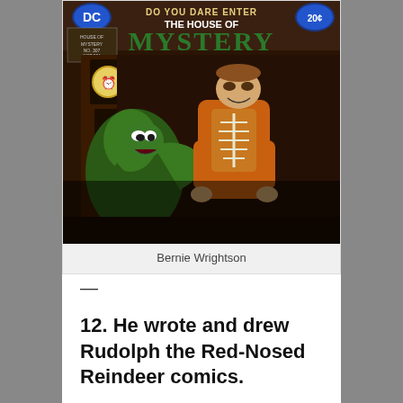[Figure (illustration): Comic book cover: 'House of Mystery' DC Comics, No. 307, Oct. Price 20 cents. Tagline 'Do You Dare Enter'. Cover shows a man in an orange jacket with a skeleton chest confronting a green figure, with a grandfather clock in the background.]
Bernie Wrightson
—
12. He wrote and drew Rudolph the Red-Nosed Reindeer comics.